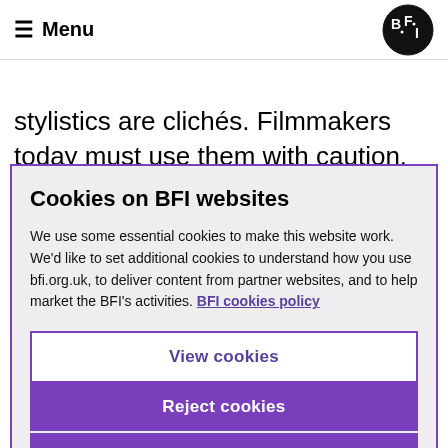Menu | BFI logo
stylistics are clichés. Filmmakers today must use them with caution. And there are other constraints.
Cookies on BFI websites
We use some essential cookies to make this website work. We'd like to set additional cookies to understand how you use bfi.org.uk, to deliver content from partner websites, and to help market the BFI's activities. BFI cookies policy
View cookies
Reject cookies
Accept cookies